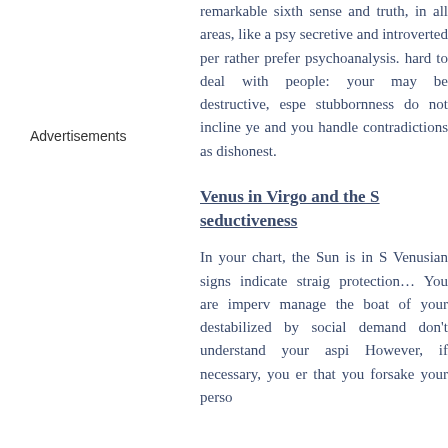Advertisements
remarkable sixth sense and truth, in all areas, like a psy secretive and introverted per rather prefer psychoanalysis. hard to deal with people: your may be destructive, espe stubbornness do not incline ye and you handle contradictions as dishonest.
Venus in Virgo and the S seductiveness
In your chart, the Sun is in S Venusian signs indicate straig protection… You are imperv manage the boat of your destabilized by social demand don't understand your aspi However, if necessary, you er that you forsake your perso